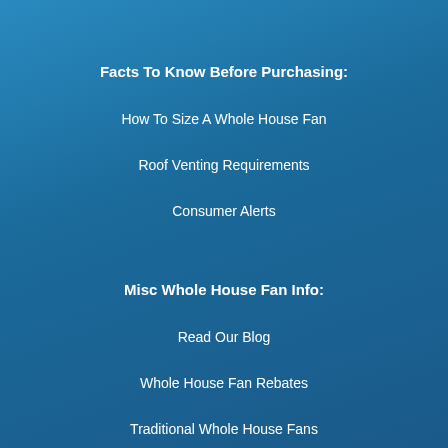Facts To Know Before Purchasing:
How To Size A Whole House Fan
Roof Venting Requirements
Consumer Alerts
Misc Whole House Fan Info:
Read Our Blog
Whole House Fan Rebates
Traditional Whole House Fans
Whole House Fan Vs. Attic Fans